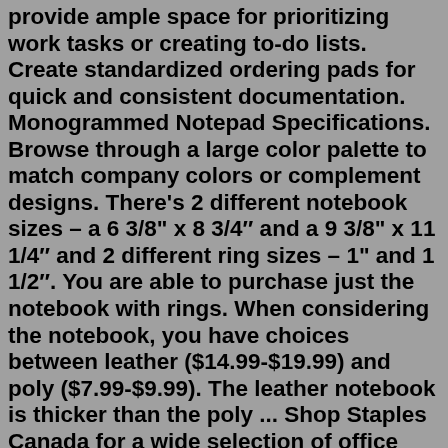provide ample space for prioritizing work tasks or creating to-do lists. Create standardized ordering pads for quick and consistent documentation. Monogrammed Notepad Specifications. Browse through a large color palette to match company colors or complement designs. There's 2 different notebook sizes – a 6 3/8" x 8 3/4" and a 9 3/8" x 11 1/4" and 2 different ring sizes – 1" and 1 1/2". You are able to purchase just the notebook with rings. When considering the notebook, you have choices between leather ($14.99-$19.99) and poly ($7.99-$9.99). The leather notebook is thicker than the poly ... Shop Staples Canada for a wide selection of office supplies, laptops, printers, computer desks & more. Free next day delivery on all orders. Find top rated office supplies & save big with Staples Canada. Jot down memos with this 12-pack of Staples 8.5 x 11-inch white glue-top wide-ruled notepads. Keep these glue-top notepads handy for taking notes or writing down ideas. Each notepad in this 12-pack is topped with gum adhesive that holds pages secure while allowing